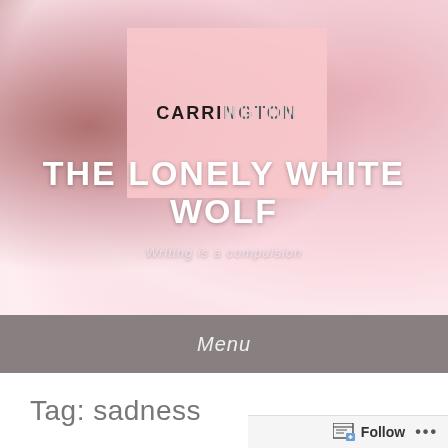[Figure (photo): Website screenshot showing a blog header with pink floral background image, a pink rectangular card with the logo 'CARRINGTON' in bold letters, the blog title 'THE LONELY WHITE WOLF' in large white text, subtitle 'Writing is a compulsion', a gray menu bar with 'Menu' in italic, and a partial 'Tag: sadness' heading below with a Follow button bar at the bottom.]
THE LONELY WHITE WOLF
Writing is a compulsion
Menu
Tag: sadness
Follow